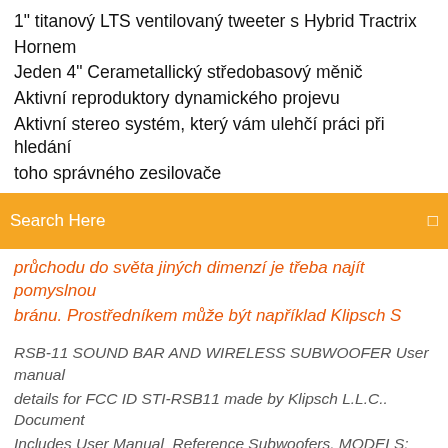1" titanový LTS ventilovaný tweeter s Hybrid Tractrix Hornem
Jeden 4" Cerametallický středobasový měnič
Aktivní reproduktory dynamického projevu
Aktivní stereo systém, který vám ulehčí práci při hledání toho správného zesilovače
Search Here
průchodu do světa jiných dimenzí je třeba najít pomyslnou bránu. Prostředníkem může být například Klipsch S
RSB-11 SOUND BAR AND WIRELESS SUBWOOFER User manual details for FCC ID STI-RSB11 made by Klipsch L.L.C.. Document Includes User Manual  Reference Subwoofers. MODELS: Top; Info; Reviews; Specs; Downloads; Support. Reference R 115 Sw Klipsch Reference Subwoofers Wa 2 Kit 2  subwoofer amplifier (Right is shown, repeat for Left) www.klipsch.com • FIGURE 3 klipsch sub 10 manual pdf, klipsch sub 10 service manual,